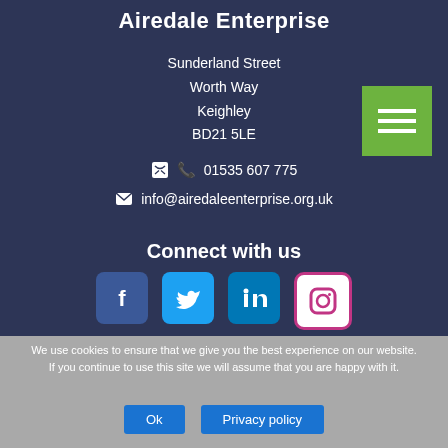Airedale Enterprise
Sunderland Street
Worth Way
Keighley
BD21 5LE
01535 607 775
info@airedaleenterprise.org.uk
Connect with us
[Figure (illustration): Social media icons: Facebook, Twitter, LinkedIn, Instagram]
We use cookies to ensure that we give you the best experience on our website. If you continue to use this site we will assume that you are happy with it.
Ok   Privacy policy